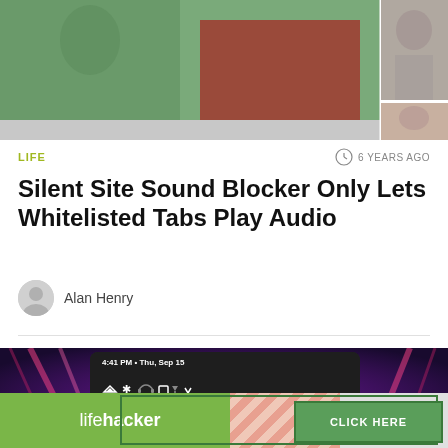[Figure (screenshot): Top strip showing partial images of people/scenes, two-column layout with main image and side thumbnails]
LIFE
6 YEARS AGO
Silent Site Sound Blocker Only Lets Whitelisted Tabs Play Audio
Alan Henry
[Figure (screenshot): Android phone screenshot showing notification panel at 4:41 PM Thu Sep 15 with Chrome Beta YouTube notification: Panic! At The Disco - Bohemian Rhapsody..., with a Lifehacker advertisement banner at the bottom with CLICK HERE button]